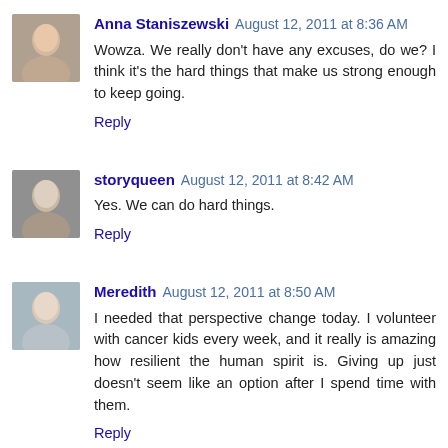Anna Staniszewski August 12, 2011 at 8:36 AM
Wowza. We really don't have any excuses, do we? I think it's the hard things that make us strong enough to keep going.
Reply
storyqueen August 12, 2011 at 8:42 AM
Yes. We can do hard things.
Reply
Meredith August 12, 2011 at 8:50 AM
I needed that perspective change today. I volunteer with cancer kids every week, and it really is amazing how resilient the human spirit is. Giving up just doesn't seem like an option after I spend time with them.
Reply